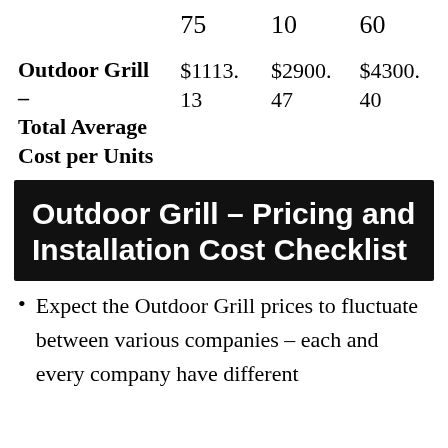|  | Col1 | Col2 | Col3 |
| --- | --- | --- | --- |
|  | 75 | 10 | 60 |
| Outdoor Grill – Total Average Cost per Units | $1113.
13 | $2900.
47 | $4300.
40 |
Outdoor Grill – Pricing and Installation Cost Checklist
Expect the Outdoor Grill prices to fluctuate between various companies – each and every company have different